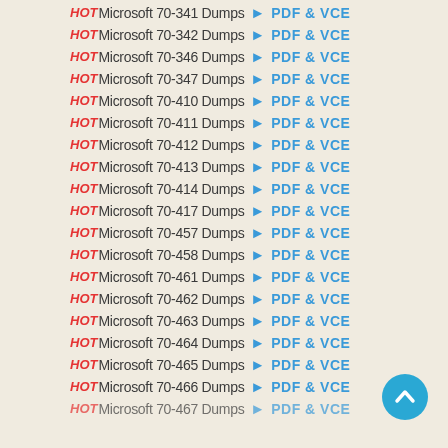HOT Microsoft 70-341 Dumps > PDF & VCE
HOT Microsoft 70-342 Dumps > PDF & VCE
HOT Microsoft 70-346 Dumps > PDF & VCE
HOT Microsoft 70-347 Dumps > PDF & VCE
HOT Microsoft 70-410 Dumps > PDF & VCE
HOT Microsoft 70-411 Dumps > PDF & VCE
HOT Microsoft 70-412 Dumps > PDF & VCE
HOT Microsoft 70-413 Dumps > PDF & VCE
HOT Microsoft 70-414 Dumps > PDF & VCE
HOT Microsoft 70-417 Dumps > PDF & VCE
HOT Microsoft 70-457 Dumps > PDF & VCE
HOT Microsoft 70-458 Dumps > PDF & VCE
HOT Microsoft 70-461 Dumps > PDF & VCE
HOT Microsoft 70-462 Dumps > PDF & VCE
HOT Microsoft 70-463 Dumps > PDF & VCE
HOT Microsoft 70-464 Dumps > PDF & VCE
HOT Microsoft 70-465 Dumps > PDF & VCE
HOT Microsoft 70-466 Dumps > PDF & VCE
HOT Microsoft 70-467 Dumps > PDF & VCE